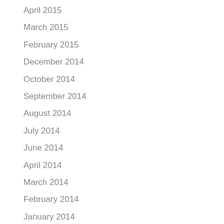April 2015
March 2015
February 2015
December 2014
October 2014
September 2014
August 2014
July 2014
June 2014
April 2014
March 2014
February 2014
January 2014
December 2013
November 2013